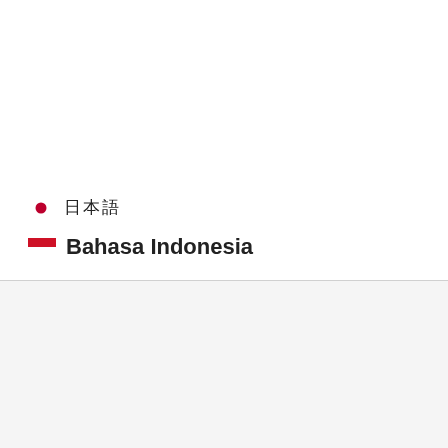🇯🇵 日本語
🇮🇩 Bahasa Indonesia
We use cookies on our website to give you the most relevant experience by remembering your preferences and repeat visits. By clicking "Accept", you consent to the use of ALL the cookies.
Privacy Policy | ACCEPT